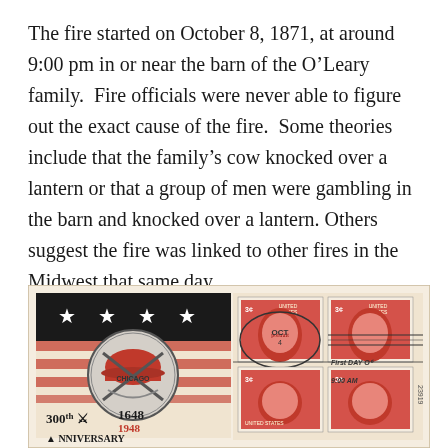The fire started on October 8, 1871, at around 9:00 pm in or near the barn of the O'Leary family. Fire officials were never able to figure out the exact cause of the fire. Some theories include that the family's cow knocked over a lantern or that a group of men were gambling in the barn and knocked over a lantern. Others suggest the fire was linked to other fires in the Midwest that same day.
[Figure (photo): A first day cover envelope from 1948 showing the 300th Anniversary of the Chicago Fire. Features four 3-cent US postage stamps in red with portraits, a decorative medallion illustration showing a firefighter's helmet and axes against a flag background with stars, and text reading '300th Anniversary 1648 1948 ANNIVERSARY' with an OCT postmark.]